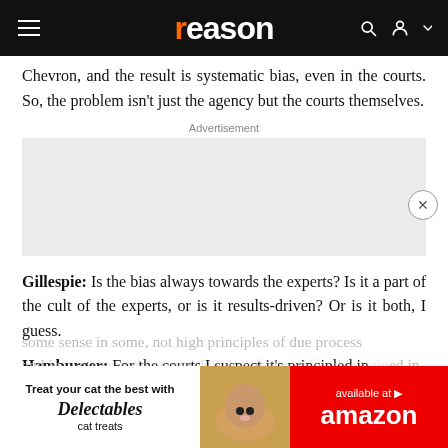reason
Chevron, and the result is systematic bias, even in the courts. So, the problem isn't just the agency but the courts themselves.
Advertisement
[Figure (other): Gray advertisement placeholder box]
Gillespie: Is the bias always towards the experts? Is it a part of the cult of the experts, or is it results-driven? Or is it both, I guess.
Hamburger: For the courts I suspect it's principled in some sense in some, not high principles of due process and ju... ...ed in the sense that they now feel comfortable to make these decisions themselves and they'd rather do...
[Figure (other): Delectables cat treats advertisement overlay with Amazon branding]